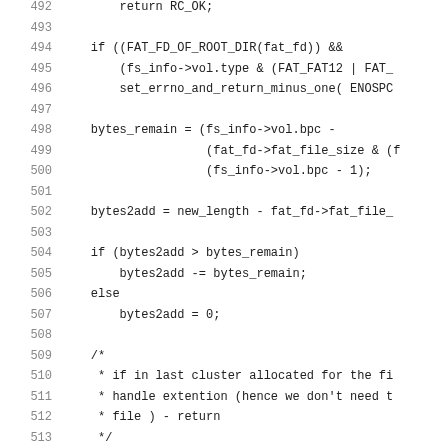Source code listing, lines 492-521, C code for FAT filesystem
492        return RC_OK;
493
494    if ((FAT_FD_OF_ROOT_DIR(fat_fd)) &&
495        (fs_info->vol.type & (FAT_FAT12 | FAT_
496        set_errno_and_return_minus_one( ENOSPC
497
498    bytes_remain = (fs_info->vol.bpc -
499                    (fat_fd->fat_file_size & (f
500                    (fs_info->vol.bpc - 1);
501
502    bytes2add = new_length - fat_fd->fat_file_
503
504    if (bytes2add > bytes_remain)
505        bytes2add -= bytes_remain;
506    else
507        bytes2add = 0;
508
509    /*
510     * if in last cluster allocated for the fi
511     * handle extention (hence we don't need t
512     * file ) - return
513     */
514    if (bytes2add == 0)
515        return RC_OK;
516
517    cls2add = ((bytes2add - 1) >> fs_info->vol
518
519    rc = fat_scan_fat_for_free_clusters(mt_ent
520                                         &cls_a
521